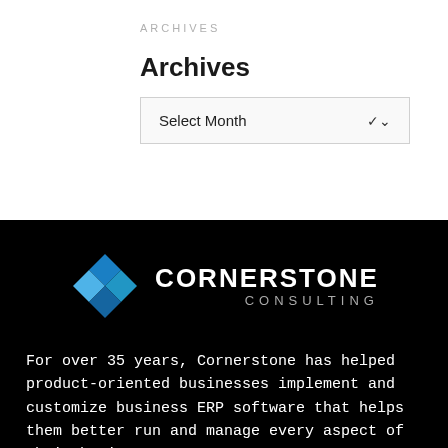ARCHIVES
Archives
Select Month
[Figure (logo): Cornerstone Consulting logo with blue diamond geometric icon and white text on black background]
For over 35 years, Cornerstone has helped product-oriented businesses implement and customize business ERP software that helps them better run and manage every aspect of their business;